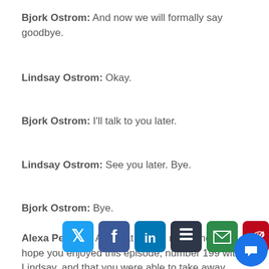Bjork Ostrom: And now we will formally say goodbye.
Lindsay Ostrom: Okay.
Bjork Ostrom: I'll talk to you later.
Lindsay Ostrom: See you later. Bye.
Bjork Ostrom: Bye.
Alexa Peduzzi: And that is that, my friend. We hope you enjoyed this episode, number 199 with Lindsay, and that you were able to take away
[Figure (infographic): Social media share buttons: Twitter, Facebook, LinkedIn, Buffer, Email, Pinterest, Phone/Link, and a chat bubble widget in the bottom right corner.]